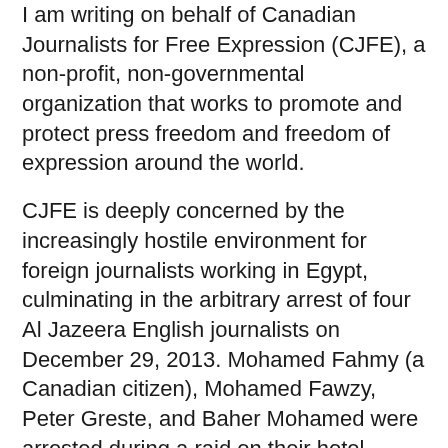I am writing on behalf of Canadian Journalists for Free Expression (CJFE), a non-profit, non-governmental organization that works to promote and protect press freedom and freedom of expression around the world.
CJFE is deeply concerned by the increasingly hostile environment for foreign journalists working in Egypt, culminating in the arbitrary arrest of four Al Jazeera English journalists on December 29, 2013. Mohamed Fahmy (a Canadian citizen), Mohamed Fawzy, Peter Greste, and Baher Mohamed were arrested during a raid on their hotel. While Fawzy was later released the other three journalists remain in custody with their videos and other materials pertaining to their work confiscated even though they have yet to be charged with any crime.
The four journalists were arrested after filming an interview with members of the Muslim Brotherhood and have been accused of belonging to a Muslim...